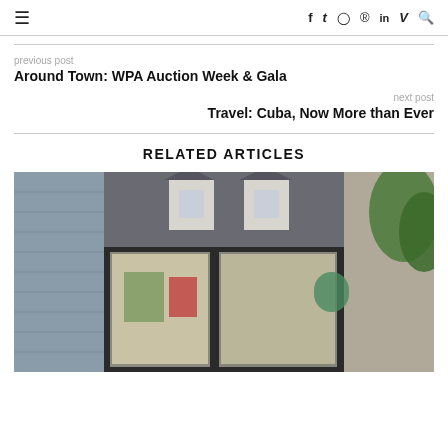≡  f  𝕥  ☐  ℗  in  V  🔍
previous post
Around Town: WPA Auction Week & Gala
next post
Travel: Cuba, Now More than Ever
RELATED ARTICLES
[Figure (photo): Exterior photo of a renovated house with modern glass extension, stone facade, and dormers visible on the roof. Interior lit with warm light, artwork visible inside.]